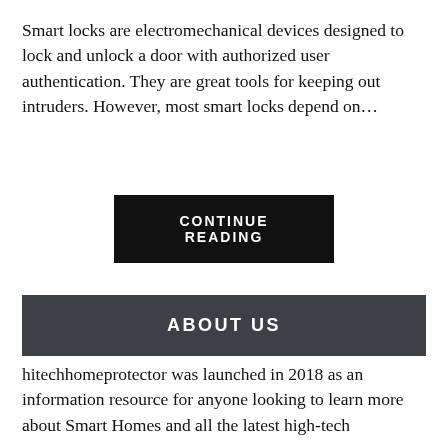Smart locks are electromechanical devices designed to lock and unlock a door with authorized user authentication. They are great tools for keeping out intruders. However, most smart locks depend on…
CONTINUE READING
ABOUT US
hitechhomeprotector was launched in 2018 as an information resource for anyone looking to learn more about Smart Homes and all the latest high-tech